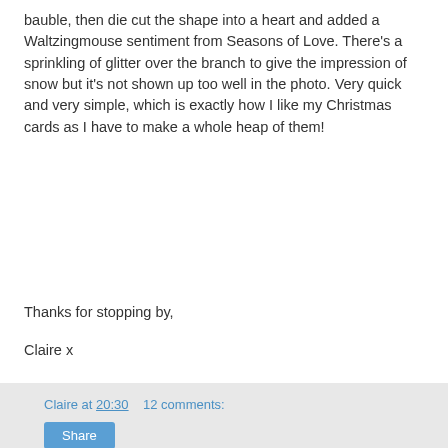bauble, then die cut the shape into a heart and added a Waltzingmouse sentiment from Seasons of Love. There's a sprinkling of glitter over the branch to give the impression of snow but it's not shown up too well in the photo. Very quick and very simple, which is exactly how I like my Christmas cards as I have to make a whole heap of them!
Thanks for stopping by,
Claire x
Claire at 20:30    12 comments:  Share
Sunday, 25 October 2015
Little Monster
G'day folks!
My fingers have been distinctly lacking in ink these last